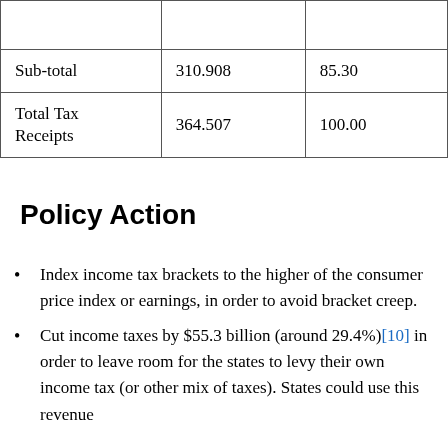|  |  |  |
| --- | --- | --- |
|  |  |  |
| Sub-total | 310.908 | 85.30 |
| Total Tax Receipts | 364.507 | 100.00 |
Policy Action
Index income tax brackets to the higher of the consumer price index or earnings, in order to avoid bracket creep.
Cut income taxes by $55.3 billion (around 29.4%)[10] in order to leave room for the states to levy their own income tax (or other mix of taxes). States could use this revenue